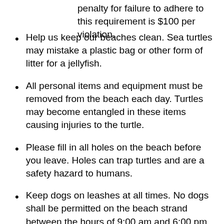penalty for failure to adhere to this requirement is $100 per violation.
Help us keep our beaches clean. Sea turtles may mistake a plastic bag or other form of litter for a jellyfish.
All personal items and equipment must be removed from the beach each day. Turtles may become entangled in these items causing injuries to the turtle.
Please fill in all holes on the beach before you leave. Holes can trap turtles and are a safety hazard to humans.
Keep dogs on leashes at all times. No dogs shall be permitted on the beach strand between the hours of 9:00 am and 6:00 pm during the period of Memorial Day through Labor Day regardless of whether they are leashed or not.